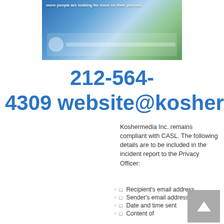[Figure (photo): A smartphone displaying a real estate listing or website with property images, shown against a blue/green background with promotional text about people looking at real estate on phones.]
212-564-4309 website@koshermedia.com
Koshermedia Inc. remains compliant with CASL. The following details are to be included in the incident report to the Privacy Officer:
Recipient's email address
Sender's email address
Date and time sent
Content of